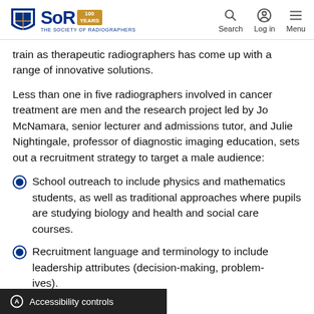SoR 100 YEARS — THE SOCIETY OF RADIOGRAPHERS | Search | Log in | Menu
train as therapeutic radiographers has come up with a range of innovative solutions.
Less than one in five radiographers involved in cancer treatment are men and the research project led by Jo McNamara, senior lecturer and admissions tutor, and Julie Nightingale, professor of diagnostic imaging education, sets out a recruitment strategy to target a male audience:
School outreach to include physics and mathematics students, as well as traditional approaches where pupils are studying biology and health and social care courses.
Recruitment language and terminology to include leadership attributes (decision-making, problem-solving initiatives).
Accessibility controls